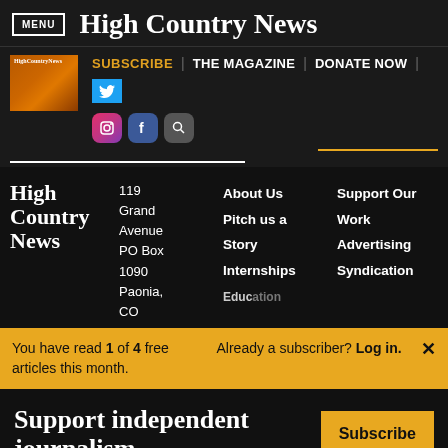MENU | High Country News
[Figure (screenshot): High Country News navigation bar with magazine thumbnail, SUBSCRIBE, THE MAGAZINE, DONATE NOW links, Twitter button, Instagram, Facebook, and search icons]
High Country News - 119 Grand Avenue PO Box 1090 Paonia, CO | About Us | Pitch us a Story | Internships | Education | Support Our Work | Advertising | Syndication
You have read 1 of 4 free articles this month. Already a subscriber? Log in.
Support independent journalism. Subscribe